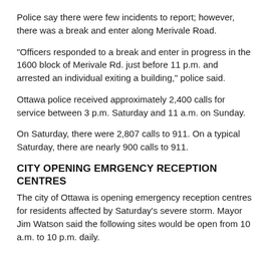Police say there were few incidents to report; however, there was a break and enter along Merivale Road.
"Officers responded to a break and enter in progress in the 1600 block of Merivale Rd. just before 11 p.m. and arrested an individual exiting a building," police said.
Ottawa police received approximately 2,400 calls for service between 3 p.m. Saturday and 11 a.m. on Sunday.
On Saturday, there were 2,807 calls to 911. On a typical Saturday, there are nearly 900 calls to 911.
CITY OPENING EMRGENCY RECEPTION CENTRES
The city of Ottawa is opening emergency reception centres for residents affected by Saturday's severe storm. Mayor Jim Watson said the following sites would be open from 10 a.m. to 10 p.m. daily.